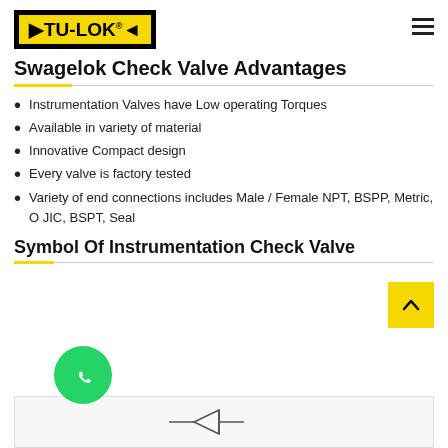[Figure (logo): TU-LOK logo in black border with yellow background and arrow chevrons]
Swagelok Check Valve Advantages
Instrumentation Valves have Low operating Torques
Available in variety of material
Innovative Compact design
Every valve is factory tested
Variety of end connections includes Male / Female NPT, BSPP, Metric, O JIC, BSPT, Seal
Symbol Of Instrumentation Check Valve
[Figure (illustration): Partial illustration of instrumentation check valve symbol at bottom of page]